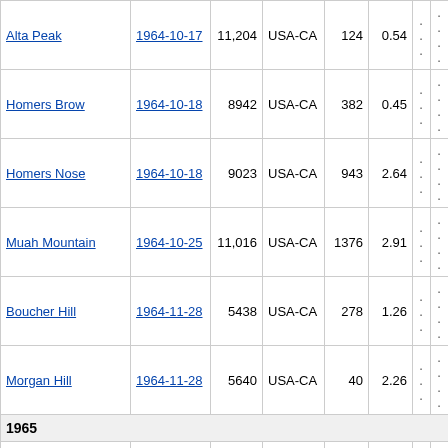| Name | Date | Elev | Country | Prom | Score | ... | .... |
| --- | --- | --- | --- | --- | --- | --- | --- |
| Alta Peak | 1964-10-17 | 11,204 | USA-CA | 124 | 0.54 | ... | .... |
| Homers Brow | 1964-10-18 | 8942 | USA-CA | 382 | 0.45 | ... | .... |
| Homers Nose | 1964-10-18 | 9023 | USA-CA | 943 | 2.64 | ... | .... |
| Muah Mountain | 1964-10-25 | 11,016 | USA-CA | 1376 | 2.91 | ... | .... |
| Boucher Hill | 1964-11-28 | 5438 | USA-CA | 278 | 1.26 | ... | .... |
| Morgan Hill | 1964-11-28 | 5640 | USA-CA | 40 | 2.26 | ... | .... |
| 1965 |  |  |  |  |  |  |  |
| Cady Peak | 1965 | 4627 | USA-CA | 2427 | 19.28 | ... | .... |
| Kino Peak | 1965 | 3197 | USA-AZ | 1537 | 8.98 | ... | .... |
| Mount Ajo | 1965 | 4808 | USA-AZ | 2698 | 61.21 | ... | .... |
| Chaparrosa Peak | 1965-01-09 | 5541 | USA-CA | 301 | 1.11 | ... | .... |
| Tip Top Mountain | 1965-01-09 | 7623 | USA-CA | 823 | 1.77 | ... | .... |
| Quail Mountain | 1965-01-10 | 5813 | USA-CA | 2293 | 21.53 | ... | .... |
| Queen Mountain | 1965-01-10 | 5680 | USA-CA | 1240 | 8.65 | ... | .... |
| Chalk Hill | 1965-01-23 | 6089 | USA-CA | 289 | 0.36 | ... | .... |